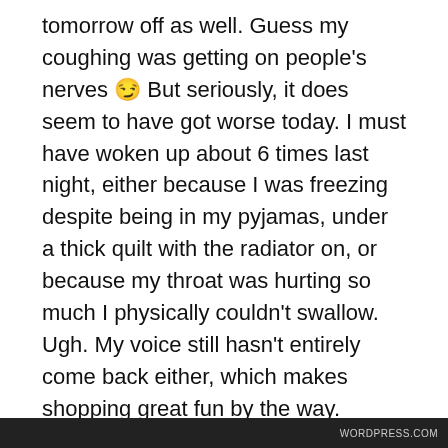tomorrow off as well. Guess my coughing was getting on people's nerves 😉 But seriously, it does seem to have got worse today. I must have woken up about 6 times last night, either because I was freezing despite being in my pyjamas, under a thick quilt with the radiator on, or because my throat was hurting so much I physically couldn't swallow. Ugh. My voice still hasn't entirely come back either, which makes shopping great fun by the way. Nobody can actually hear my hoarsly muttered "thank you" amidst all the chatter of the other shoppers which must make me look incredibly rude. I think this qualifies as ill enough to be deserving of a
Privacy & Cookies: This site uses cookies. By continuing to use this website, you agree to their use.
To find out more, including how to control cookies, see here: Cookie Policy
Close and accept